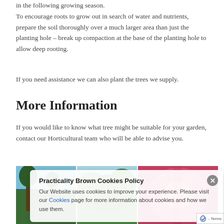in the following growing season.
To encourage roots to grow out in search of water and nutrients, prepare the soil thoroughly over a much larger area than just the planting hole – break up compaction at the base of the planting hole to allow deep rooting.
If you need assistance we can also plant the trees we supply.
More Information
If you would like to know what tree might be suitable for your garden, contact our Horticultural team who will be able to advise you.
[Figure (photo): Three garden/tree photos side by side with a cookie consent overlay. Left shows trees with blue sky, middle shows green foliage, right shows a pink/red flower.]
Practicality Brown Cookies Policy
Our Website uses cookies to improve your experience. Please visit our Cookies page for more information about cookies and how we use them.